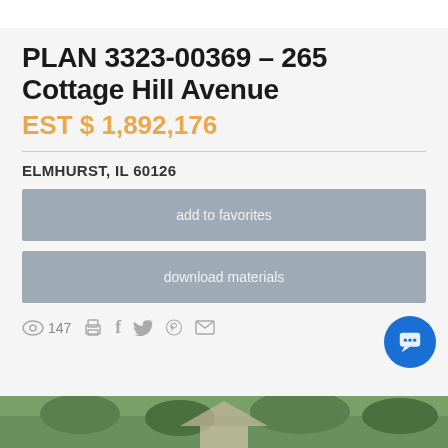PLAN 3323-00369 – 265 Cottage Hill Avenue
EST $ 1,892,176
ELMHURST, IL 60126
add to favorites
download materials
147
[Figure (photo): Partial view of a house exterior at the bottom of the page]